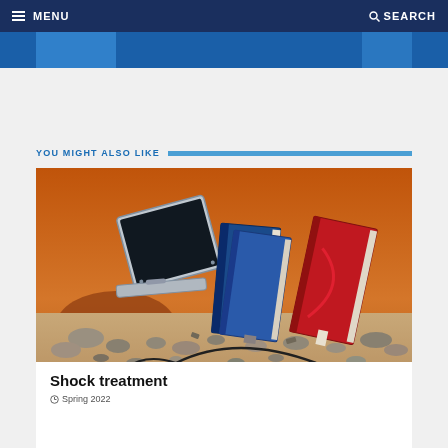MENU   SEARCH
YOU MIGHT ALSO LIKE
[Figure (illustration): Illustration of books and a laptop/tablet device buried in rubble and rocks against an orange sunset sky. A grey laptop, blue books, and a red book are shown partially submerged in stony debris.]
Shock treatment
Spring 2022